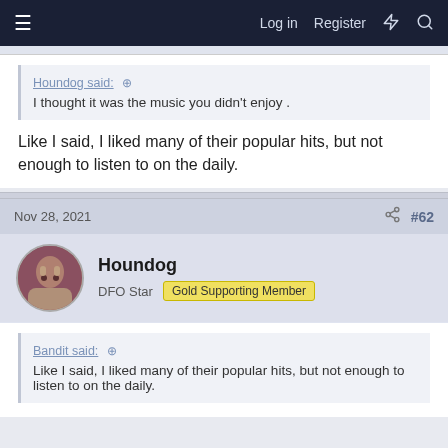≡  Log in  Register  ⚡  🔍
Houndog said: ↗
I thought it was the music you didn't enjoy .
Like I said, I liked many of their popular hits, but not enough to listen to on the daily.
Nov 28, 2021  #62
Houndog
DFO Star  Gold Supporting Member
Bandit said: ↗
Like I said, I liked many of their popular hits, but not enough to listen to on the daily.